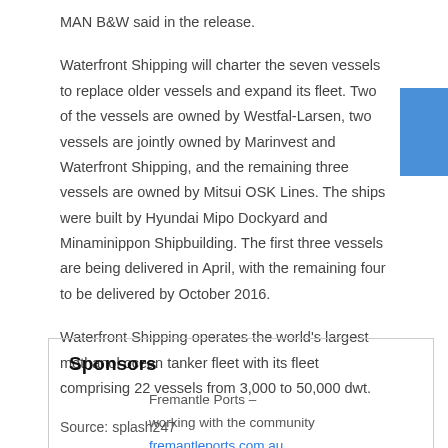MAN B&W said in the release.
Waterfront Shipping will charter the seven vessels to replace older vessels and expand its fleet. Two of the vessels are owned by Westfal-Larsen, two vessels are jointly owned by Marinvest and Waterfront Shipping, and the remaining three vessels are owned by Mitsui OSK Lines. The ships were built by Hyundai Mipo Dockyard and Minaminippon Shipbuilding. The first three vessels are being delivered in April, with the remaining four to be delivered by October 2016.
Waterfront Shipping operates the world's largest methanol ocean tanker fleet with its fleet comprising 22 vessels from 3,000 to 50,000 dwt.
Source: splash247
Sponsors
Fremantle Ports – working with the community
fremantleports.com.au